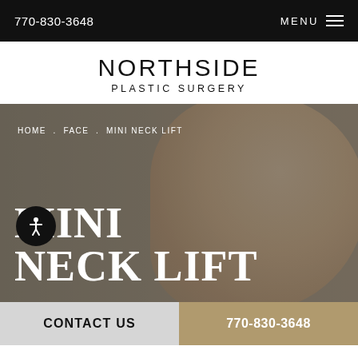770-830-3648   MENU
NORTHSIDE
PLASTIC SURGERY
[Figure (photo): Hero banner image showing a smiling young woman touching her face/neck against a dark taupe/grey background, with breadcrumb navigation and large 'MINI NECK LIFT' heading overlaid]
HOME . FACE . MINI NECK LIFT
MINI NECK LIFT
CONTACT US   770-830-3648